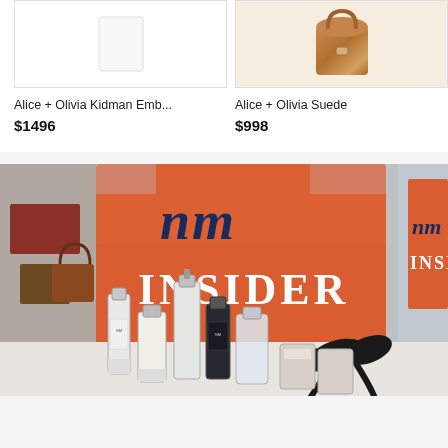[Figure (photo): Product image of Alice + Olivia Kidman Embellished item, white background]
Alice + Olivia Kidman Emb...
$1496
[Figure (photo): Product image of Alice + Olivia Suede item, brown/tan suede bag on light background with circle icon overlay]
Alice + Olivia Suede
$998
[Figure (photo): Photo of NM Insider display with orange signage showing 'nm INSIDER' branding and perfume/fragrance bottles in foreground]